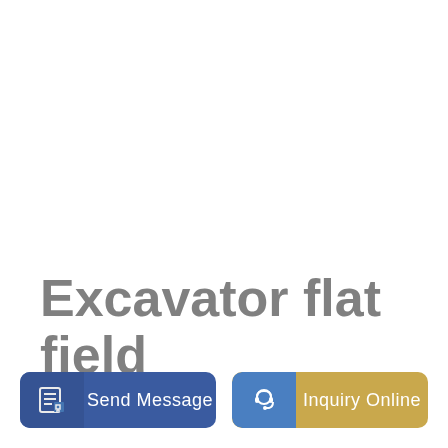Excavator flat field
[Figure (other): Send Message button with edit/document icon on blue background]
[Figure (other): Inquiry Online button with headset icon on blue/gold background]